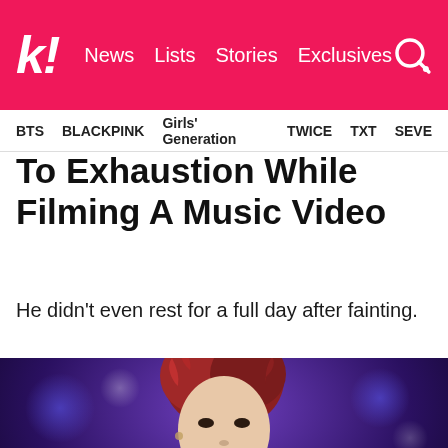k! News Lists Stories Exclusives
BTS BLACKPINK Girls' Generation TWICE TXT SEVE
To Exhaustion While Filming A Music Video
He didn't even rest for a full day after fainting.
[Figure (photo): Young man with red/auburn curly hair wearing a black suit and white dress shirt, looking upward, performing on stage with blurred purple/blue bokeh background and audience]